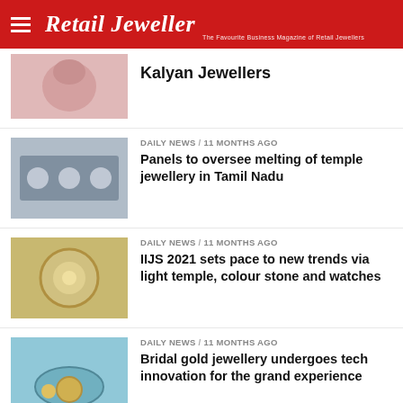Retail Jeweller — The Favourite Business Magazine of Retail Jewellers
Kalyan Jewellers
DAILY NEWS / 11 months ago
Panels to oversee melting of temple jewellery in Tamil Nadu
DAILY NEWS / 11 months ago
IIJS 2021 sets pace to new trends via light temple, colour stone and watches
DAILY NEWS / 11 months ago
Bridal gold jewellery undergoes tech innovation for the grand experience
RJ MARKET WATCH / 11 months ago
Bridal Trendsetters 2021 India edit